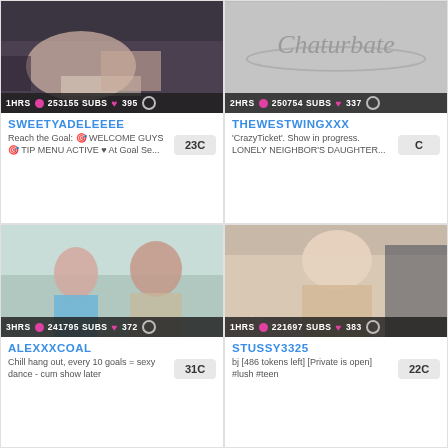[Figure (screenshot): Chaturbate stream thumbnail for SWEETYADELEEEE showing body/feet on dark bedding]
1HRS 253155 SUBS 395
SWEETYADELEEEE
Reach the Goal: WELCOME GUYS TIP MENU ACTIVE ♥ At Goal Se...
23C
[Figure (screenshot): Chaturbate stream thumbnail showing Chaturbate logo on grey background]
2HRS 250754 SUBS 337
THEWESTWINGXXX
'CrazyTicket'. Show in progress. LONELY NEIGHBOR'S DAUGHTER...
C
[Figure (screenshot): Chaturbate stream thumbnail for ALEXXXCOAL showing a couple sitting on a couch]
3HRS 241795 SUBS 372
ALEXXXCOAL
Chill hang out, every 10 goals = sexy dance - cum show later
31C
[Figure (screenshot): Chaturbate stream thumbnail for STUSSY3325 showing young blonde woman]
1HRS 221697 SUBS 383
STUSSY3325
bj [486 tokens left] [Private is open] #lush #teen
22C